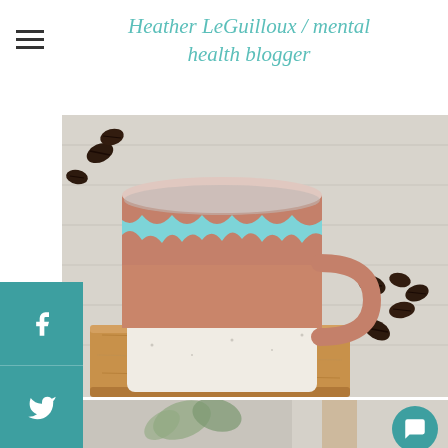Heather LeGuilloux / mental health blogger
[Figure (photo): Ceramic mug with blue drip glaze on terracotta, sitting on a wooden board, with coffee beans scattered on white wood surface]
[Figure (photo): Plants and decorative pot on a light background, partially visible at bottom of page]